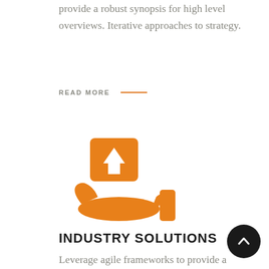provide a robust synopsis for high level overviews. Iterative approaches to strategy.
READ MORE —
[Figure (illustration): Orange icon of a hand holding a box with an upward arrow, representing delivery or industry solutions]
INDUSTRY SOLUTIONS
Leverage agile frameworks to provide a robust synopsis for high level overviews. Iterative